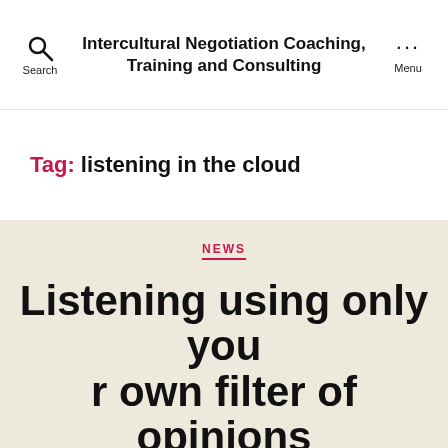Intercultural Negotiation Coaching, Training and Consulting
Tag: listening in the cloud
NEWS
Listening using only your own filter of opinions and values without accepting that there may be others